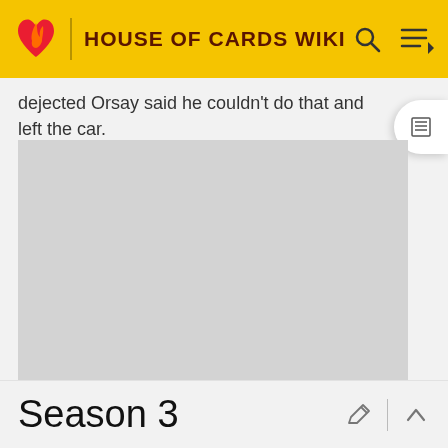HOUSE OF CARDS WIKI
dejected Orsay said he couldn't do that and left the car.
[Figure (other): Advertisement placeholder — large grey rectangle with ADVERTISEMENT label below]
Season 3